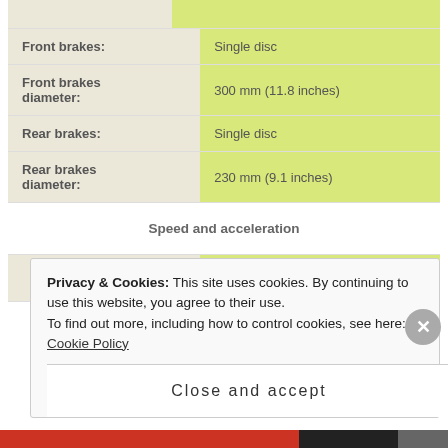| Specification | Value |
| --- | --- |
|  |  |
| Front brakes: | Single disc |
| Front brakes diameter: | 300 mm (11.8 inches) |
| Rear brakes: | Single disc |
| Rear brakes diameter: | 230 mm (9.1 inches) |
| Speed and acceleration |  |
|  |  |
Privacy & Cookies: This site uses cookies. By continuing to use this website, you agree to their use. To find out more, including how to control cookies, see here: Cookie Policy
Close and accept